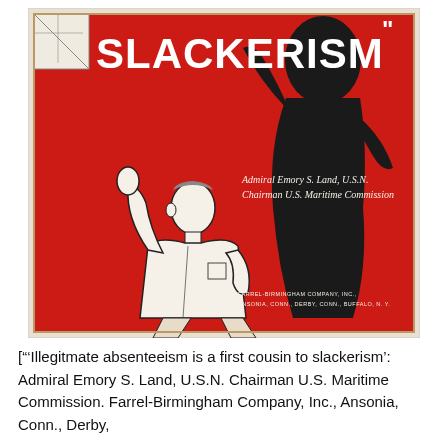[Figure (illustration): A vintage WWII-era propaganda poster with a red background. Bold white text at the top reads 'SLACKERISM' with quotation marks. A black silhouette of a looming figure dominates the right side. In the foreground, a drawn figure of a worker in white clothes stoops or cowers. Text in the middle right reads 'Admiral Emory S. Land, U.S.N. Chairman U.S. Maritime Commission'. Small text at the bottom right reads 'FARREL-BIRMINGHAM COMPANY, INC., ANSONIA, CONN., DERBY, CONN., BUFFALO, N.Y.']
["'Illegitmate absenteeism is a first cousin to slackerism': Admiral Emory S. Land, U.S.N. Chairman U.S. Maritime Commission. Farrel-Birmingham Company, Inc., Ansonia, Conn., Derby,